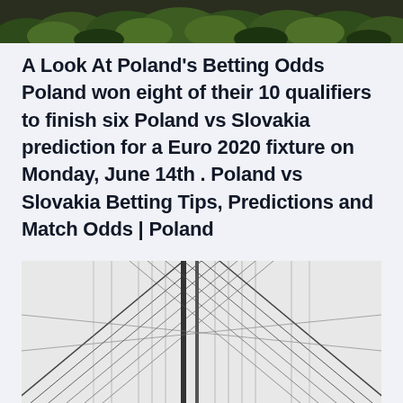[Figure (photo): Top portion of a photo showing green treetops (forest aerial view) against a dark background, cropped at the bottom edge.]
A Look At Poland's Betting Odds Poland won eight of their 10 qualifiers to finish six Poland vs Slovakia prediction for a Euro 2020 fixture on Monday, June 14th . Poland vs Slovakia Betting Tips, Predictions and Match Odds | Poland
[Figure (photo): Black and white photo of suspension bridge cables forming diagonal lines and patterns against a light grey sky background.]